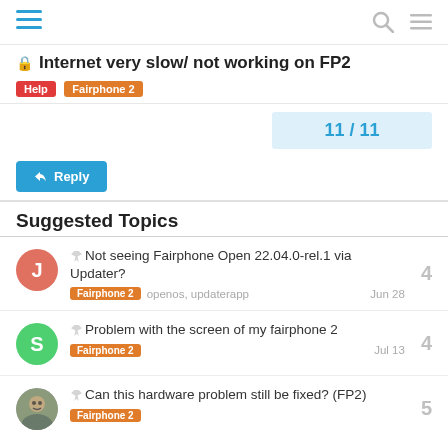Internet very slow/ not working on FP2
11 / 11
↩ Reply
Suggested Topics
Not seeing Fairphone Open 22.04.0-rel.1 via Updater? | Fairphone 2 | openos, updaterapp | Jun 28 | 4
Problem with the screen of my fairphone 2 | Fairphone 2 | Jul 13 | 4
Can this hardware problem still be fixed? (FP2) | Fairphone 2 | Jul 13 | 5